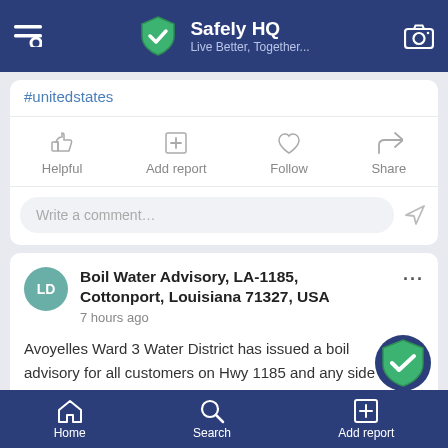Safely HQ — Live Better, Together...
#unitedstates
Helpful | Add report | Follow | Share
Write a comment...
Boil Water Advisory, LA-1185, Cottonport, Louisiana 71327, USA
7 hours ago
Avoyelles Ward 3 Water District has issued a boil advisory for all customers on Hwy 1185 and any side
Home | Search | Add report